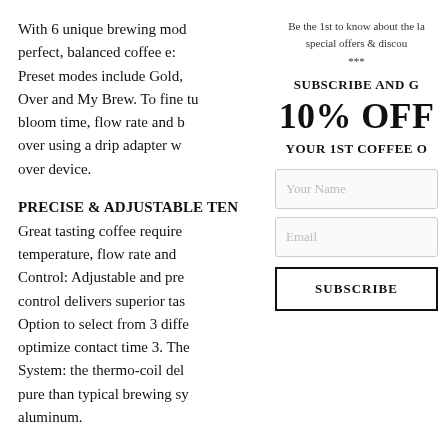With 6 unique brewing mod perfect, balanced coffee e: Preset modes include Gold, Over and My Brew. To fine tu bloom time, flow rate and b over using a drip adapter w over device.
PRECISE & ADJUSTABLE TEN
Great tasting coffee require temperature, flow rate and Control: Adjustable and pre control delivers superior tas Option to select from 3 diffe optimize contact time 3. The System: the thermo-coil del pure than typical brewing sy aluminum.
Be the 1st to know about the la special offers & discou ***
SUBSCRIBE AND G
10% OFF
YOUR 1ST COFFEE O
Your Name
Email
SUBSCRIBE